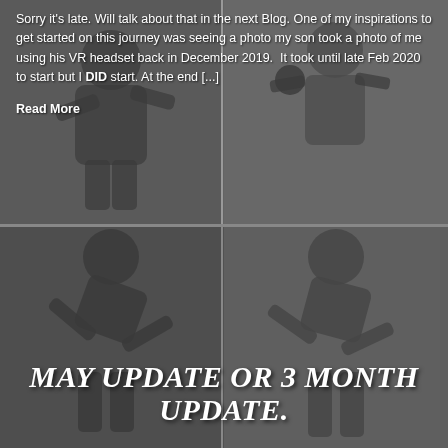[Figure (photo): Two-panel photo of a person exercising with a kettlebell, dark background, serving as background for blog post excerpt]
Sorry it's late. Will talk about that in the next Blog. One of my inspirations to get started on this journey was seeing a photo my son took a photo of me using his VR headset back in December 2019. It took until late Feb 2020 to start but I DID start. At the end [...]
Read More
[Figure (photo): Two-panel photo of a person bending over, exercise/fitness context, serving as background for blog post title]
MAY UPDATE OR 3 MONTH UPDATE.